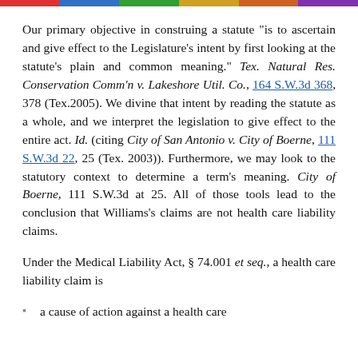Our primary objective in construing a statute "is to ascertain and give effect to the Legislature's intent by first looking at the statute's plain and common meaning." Tex. Natural Res. Conservation Comm'n v. Lakeshore Util. Co., 164 S.W.3d 368, 378 (Tex.2005). We divine that intent by reading the statute as a whole, and we interpret the legislation to give effect to the entire act. Id. (citing City of San Antonio v. City of Boerne, 111 S.W.3d 22, 25 (Tex. 2003)). Furthermore, we may look to the statutory context to determine a term's meaning. City of Boerne, 111 S.W.3d at 25. All of those tools lead to the conclusion that Williams's claims are not health care liability claims.
Under the Medical Liability Act, § 74.001 et seq., a health care liability claim is
a cause of action against a health care